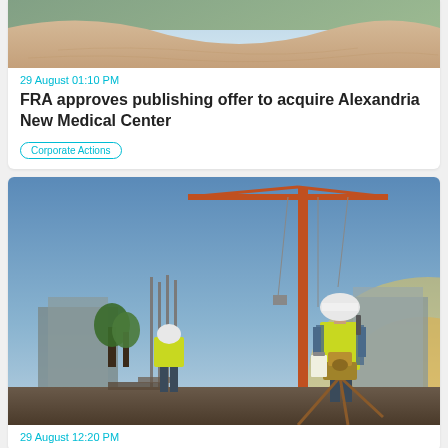[Figure (photo): Top of a sandy/desert landscape photo, partially cropped at top of page]
29 August 01:10 PM
FRA approves publishing offer to acquire Alexandria New Medical Center
Corporate Actions
[Figure (photo): Construction site photo showing a surveyor in yellow high-vis vest and white hard hat using a theodolite on a tripod, with a large orange crane in the background and another worker in the distance, warm sunset light on the right]
29 August 12:20 PM